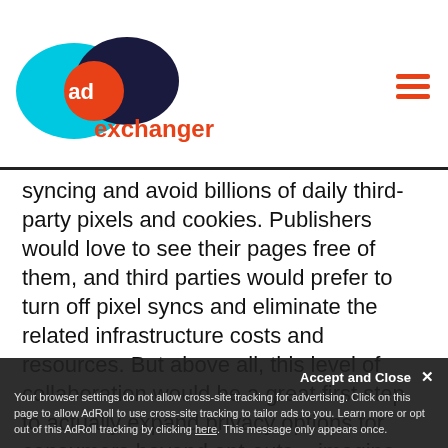AdExchanger
syncing and avoid billions of daily third-party pixels and cookies. Publishers would love to see their pages free of them, and third parties would prefer to turn off pixel syncs and eliminate the related infrastructure costs and resources. But above all, this level of collaboration would be a great first step to actually expand privacy options for consumers beyond opt-outs – imagine the ability for consumers to opt in to simple retargeting for up to three days, yet opt out of all other forms of behavioral targeting. This approach would be a win-win-win for consumers, publishers and third parties,
...the is to take already taken the critical first step.
Accept and Close × Your browser settings do not allow cross-site tracking for advertising. Click on this page to allow AdRoll to use cross-site tracking to tailor ads to you. Learn more or opt out of this AdRoll tracking by clicking here. This message only appears once.